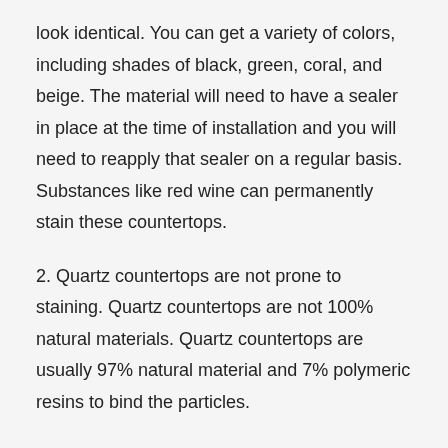look identical. You can get a variety of colors, including shades of black, green, coral, and beige. The material will need to have a sealer in place at the time of installation and you will need to reapply that sealer on a regular basis. Substances like red wine can permanently stain these countertops.
2. Quartz countertops are not prone to staining. Quartz countertops are not 100% natural materials. Quartz countertops are usually 97% natural material and 7% polymeric resins to bind the particles.